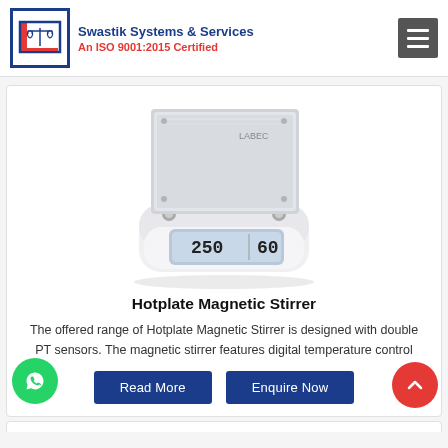Swastik Systems & Services
An ISO 9001:2015 Certified
[Figure (photo): Hotplate Magnetic Stirrer product photo — white device with metallic square hotplate top, LCD display showing 250 and 60, blue/white body]
Hotplate Magnetic Stirrer
The offered range of Hotplate Magnetic Stirrer is designed with double PT sensors. The magnetic stirrer features digital temperature control
Read More | Enquire Now